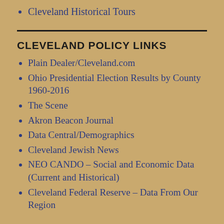Cleveland Historical Tours
CLEVELAND POLICY LINKS
Plain Dealer/Cleveland.com
Ohio Presidential Election Results by County 1960-2016
The Scene
Akron Beacon Journal
Data Central/Demographics
Cleveland Jewish News
NEO CANDO – Social and Economic Data (Current and Historical)
Cleveland Federal Reserve – Data From Our Region